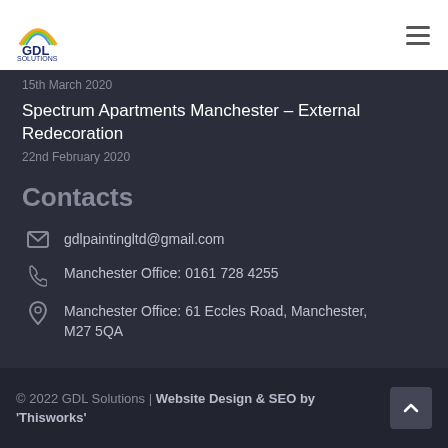GDL Solutions
15th March 2020
Spectrum Apartments Manchester – External Redecoration
22nd February 2020
Contacts
gdlpaintingltd@gmail.com
Manchester Office: 0161 728 4255
Manchester Office: 61 Eccles Road, Manchester, M27 5QA
© 2022 GDL Solutions | Website Design & SEO by 'Thisworks'